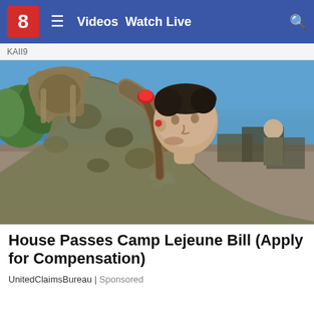8  Videos  Watch Live
KAII9
[Figure (photo): A soldier in camouflage uniform drinking water from a hose outdoors near a waterfront, with military equipment in the background.]
House Passes Camp Lejeune Bill (Apply for Compensation)
UnitedClaimsBureau | Sponsored